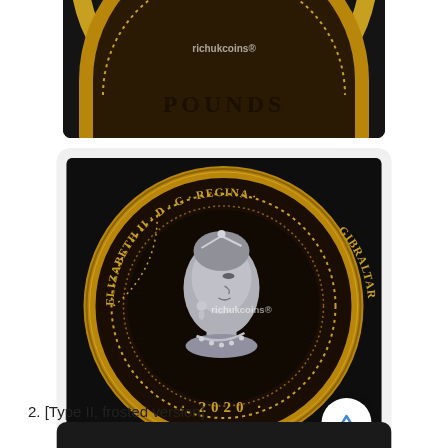[Figure (photo): Partial top view of a Gibraltar coin showing POUNDS inscription, gold rim, on dark background]
[Figure (photo): Close-up of Gibraltar 2020 coin obverse showing Queen Elizabeth II portrait with inscription ELIZABETH II D G REGINA GIBRALTAR 2020, gold and dark finish, proof coin]
Credit richukcoins®
2. [Type II, frosted version]
[Figure (photo): Bottom edge of another coin photograph, partially visible]